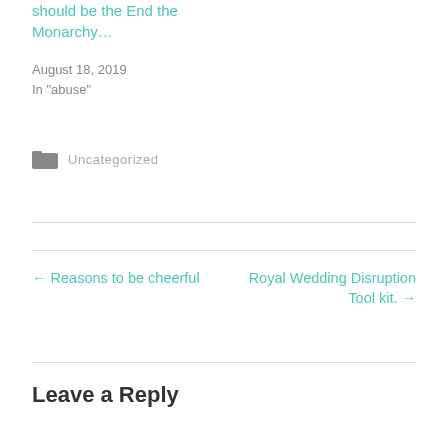should be the End the Monarchy…
August 18, 2019
In "abuse"
Uncategorized
← Reasons to be cheerful
Royal Wedding Disruption Tool kit. →
Leave a Reply